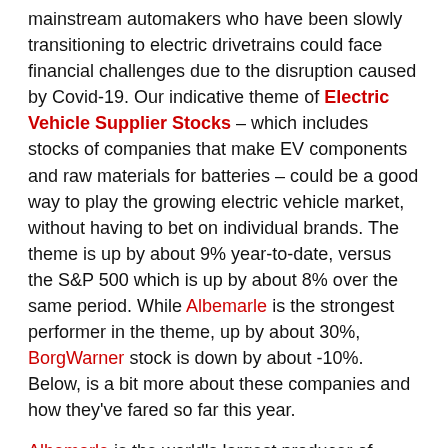this year, while China's rise is up over 7%. On the other hand, mainstream automakers who have been slowly transitioning to electric drivetrains could face financial challenges due to the disruption caused by Covid-19. Our indicative theme of Electric Vehicle Supplier Stocks – which includes stocks of companies that make EV components and raw materials for batteries – could be a good way to play the growing electric vehicle market, without having to bet on individual brands. The theme is up by about 9% year-to-date, versus the S&P 500 which is up by about 8% over the same period. While Albemarle is the strongest performer in the theme, up by about 30%, BorgWarner stock is down by about -10%. Below, is a bit more about these companies and how they've fared so far this year.
Albemarle is the world's largest producer of lithium for EV batteries. Most electric vehicles are powered by lithium-based batteries and it's likely that demand for the material will rise as EV adoption grows. The stock is up by about 30% year-to-date.